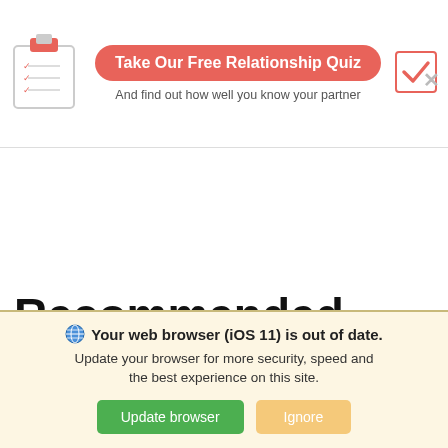[Figure (screenshot): Clipboard icon with checklist lines]
Take Our Free Relationship Quiz
And find out how well you know your partner
[Figure (screenshot): Checkmark in pink-bordered box]
Recommended products
Your web browser (iOS 11) is out of date. Update your browser for more security, speed and the best experience on this site.
Update browser
Ignore